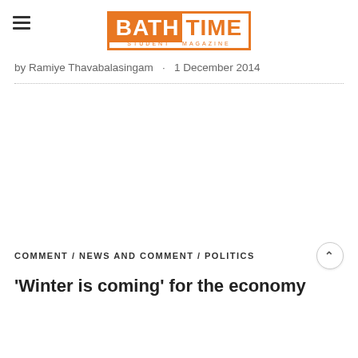[Figure (logo): Bath Time Student Magazine logo — orange and white rectangular logo with BATH in white on orange background and TIME in orange on white background, with STUDENT MAGAZINE subtitle in orange lettering below]
by Ramiye Thavabalasingam · 1 December 2014
COMMENT / NEWS AND COMMENT / POLITICS
'Winter is coming' for the economy